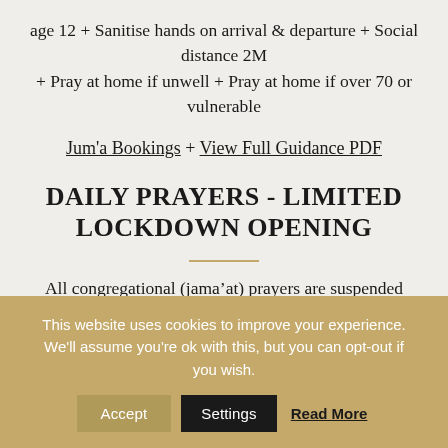age 12 + Sanitise hands on arrival & departure + Social distance 2M + Pray at home if unwell + Pray at home if over 70 or vulnerable
Jum'a Bookings + View Full Guidance PDF
DAILY PRAYERS - LIMITED LOCKDOWN OPENING
All congregational (jama'at) prayers are suspended
This website uses cookies to improve your experience. We'll assume you're ok with this, but you can opt-out if you wish.